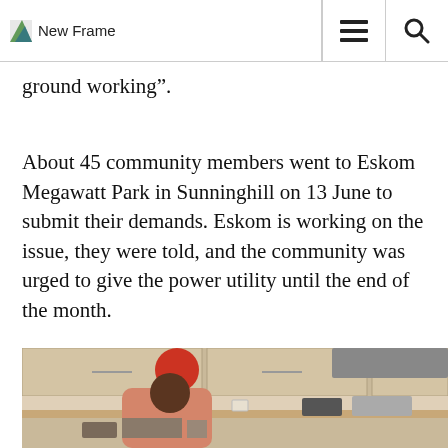New Frame
ground working”.
About 45 community members went to Eskom Megawatt Park in Sunninghill on 13 June to submit their demands. Eskom is working on the issue, they were told, and the community was urged to give the power utility until the end of the month.
[Figure (photo): A person wearing a red beanie hat and a pink coat standing in a kitchen with wooden cabinets and kitchen appliances in the background.]